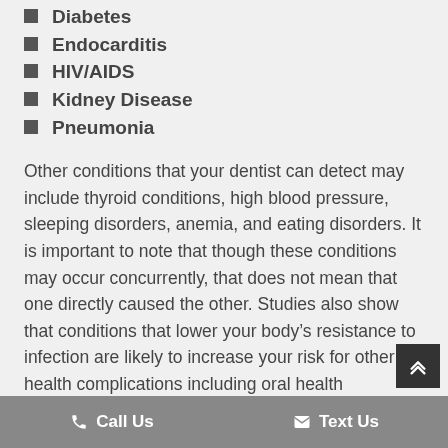Diabetes
Endocarditis
HIV/AIDS
Kidney Disease
Pneumonia
Other conditions that your dentist can detect may include thyroid conditions, high blood pressure, sleeping disorders, anemia, and eating disorders. It is important to note that though these conditions may occur concurrently, that does not mean that one directly caused the other. Studies also show that conditions that lower your body’s resistance to infection are likely to increase your risk for other health complications including oral health conditions.
PROTECTING YOUR CHILD’S SMILE
Be sure…